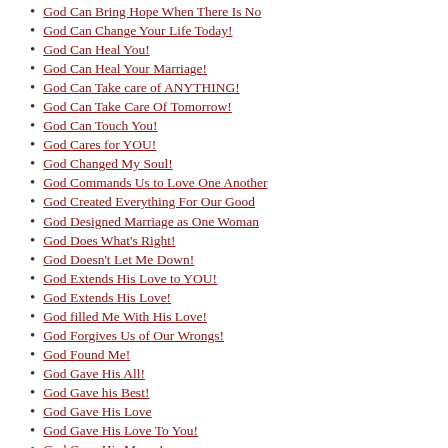God Can Bring Hope When There Is No
God Can Change Your Life Today!
God Can Heal You!
God Can Heal Your Marriage!
God Can Take care of ANYTHING!
God Can Take Care Of Tomorrow!
God Can Touch You!
God Cares for YOU!
God Changed My Soul!
God Commands Us to Love One Another
God Created Everything For Our Good
God Designed Marriage as One Woman
God Does What's Right!
God Doesn't Let Me Down!
God Extends His Love to YOU!
God Extends His Love!
God filled Me With His Love!
God Forgives Us of Our Wrongs!
God Found Me!
God Gave His All!
God Gave his Best!
God Gave His Love
God Gave His Love To You!
God Gave His Mercy!
God Gave Jesus!
God Gave Me a NEW Life!
God Gave Me A Talent: I Didn't Use
God Gave Me His Best!
God Gave Me His Love! I Received
God Gave Me His Love; I Didn't